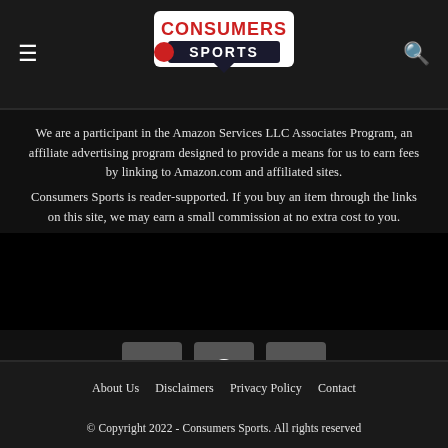[Figure (logo): Consumers Sports logo with red and dark text on white/dark background]
We are a participant in the Amazon Services LLC Associates Program, an affiliate advertising program designed to provide a means for us to earn fees by linking to Amazon.com and affiliated sites. Consumers Sports is reader-supported. If you buy an item through the links on this site, we may earn a small commission at no extra cost to you.
[Figure (other): Social media share buttons: Facebook, Pinterest, Twitter]
About Us   Disclaimers   Privacy Policy   Contact
© Copyright 2022 - Consumers Sports. All rights reserved